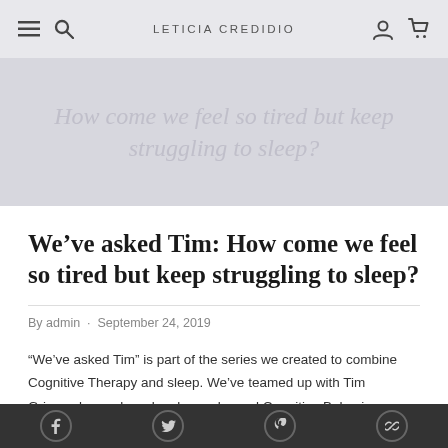LETICIA CREDIDIO
[Figure (screenshot): Hero banner with italic text: How come we feel so tired but keep struggling to sleep?]
We’ve asked Tim: How come we feel so tired but keep struggling to sleep?
By admin · September 24, 2019
“We’ve asked Tim” is part of the series we created to combine Cognitive Therapy and sleep. We’ve teamed up with Tim Grimwade, our brand ambassador and Cognitive Behaviour
Social icons: Facebook, Twitter, Pinterest, Link